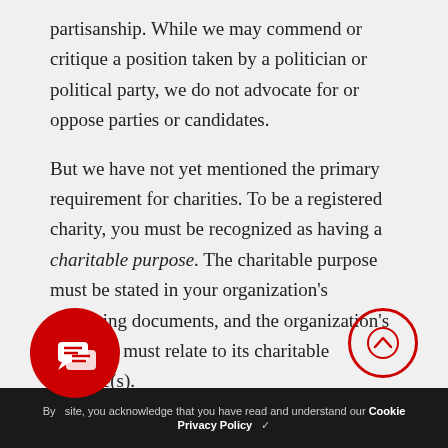partisanship. While we may commend or critique a position taken by a politician or political party, we do not advocate for or oppose parties or candidates.
But we have not yet mentioned the primary requirement for charities. To be a registered charity, you must be recognized as having a charitable purpose. The charitable purpose must be stated in your organization's governing documents, and the organization's activities must relate to its charitable purpose(s).
Charitable purposes
ur categories of charitable purpose: relief of
By site, you acknowledge that you have read and understand our Cookie Privacy Policy ✓